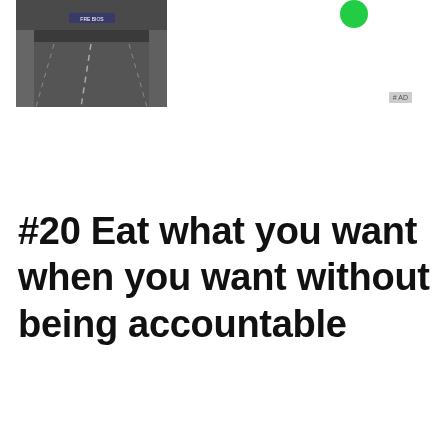[Figure (screenshot): Screenshot of a video game scene showing a road/highway viewed from driver perspective with an overpass structure above]
# AD
#20 Eat what you want when you want without being accountable